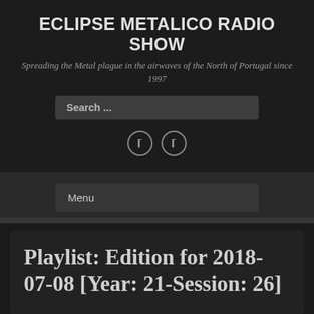ECLIPSE METALICO RADIO SHOW
Spreading the Metal plague in the airwaves of the North of Portugal since 1997
Search ...
[Figure (other): Two circular social media icon buttons side by side]
Menu
Playlist: Edition for 2018-07-08 [Year: 21-Session: 26]